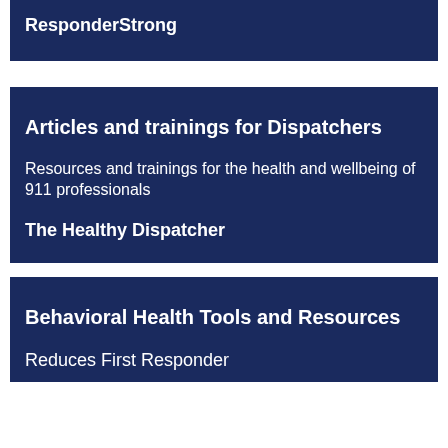ResponderStrong
Articles and trainings for Dispatchers
Resources and trainings for the health and wellbeing of 911 professionals
The Healthy Dispatcher
Behavioral Health Tools and Resources
Reduces First Responder